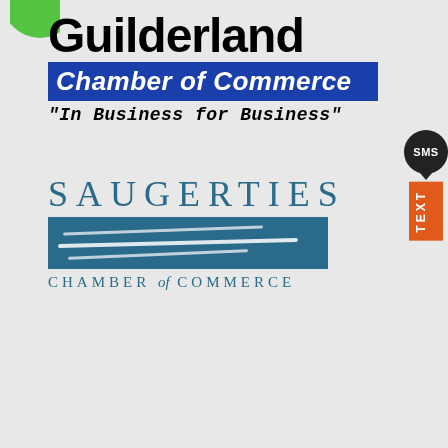[Figure (logo): Guilderland Chamber of Commerce logo. Large bold text 'Guilderland' in black, below it 'Chamber of Commerce' in white on blue background (italic), and tagline '"In Business for Business"' in bold italic monospace font.]
[Figure (logo): Saugerties Chamber of Commerce logo. 'SAUGERTIES' in large spaced teal/blue serif capitals, below a teal rectangle with white wave lines, and 'CHAMBER of COMMERCE' in spaced teal serif text beneath.]